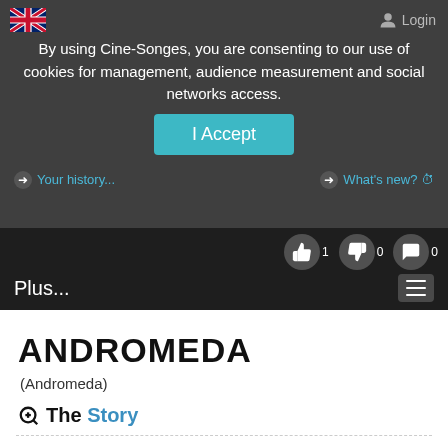By using Cine-Songes, you are consenting to our use of cookies for management, audience measurement and social networks access.
I Accept
Your history...
What's new?
Plus...
ANDROMEDA
(Andromeda)
The Story
More than 3000 years ago, aliens from a planet called Tarn Vedra in the Andromeda galaxy invented a way to travel